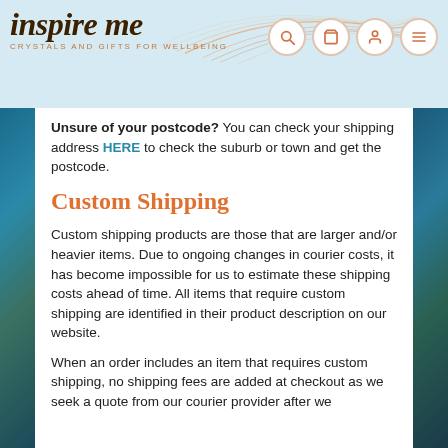[Figure (logo): Inspire Me logo with decorative swoosh lines and tagline 'Crystals and Gifts for Wellbeing']
Unsure of your postcode? You can check your shipping address HERE to check the suburb or town and get the postcode.
Custom Shipping
Custom shipping products are those that are larger and/or heavier items. Due to ongoing changes in courier costs, it has become impossible for us to estimate these shipping costs ahead of time. All items that require custom shipping are identified in their product description on our website.
When an order includes an item that requires custom shipping, no shipping fees are added at checkout as we seek a quote from our courier provider after we